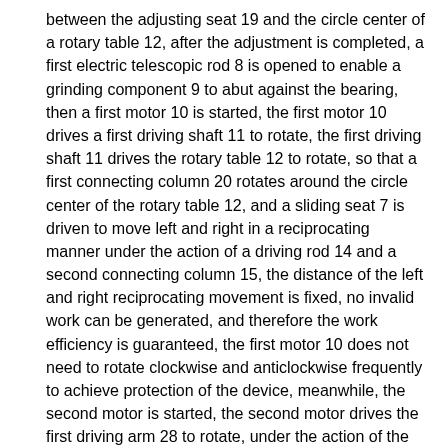between the adjusting seat 19 and the circle center of a rotary table 12, after the adjustment is completed, a first electric telescopic rod 8 is opened to enable a grinding component 9 to abut against the bearing, then a first motor 10 is started, the first motor 10 drives a first driving shaft 11 to rotate, the first driving shaft 11 drives the rotary table 12 to rotate, so that a first connecting column 20 rotates around the circle center of the rotary table 12, and a sliding seat 7 is driven to move left and right in a reciprocating manner under the action of a driving rod 14 and a second connecting column 15, the distance of the left and right reciprocating movement is fixed, no invalid work can be generated, and therefore the work efficiency is guaranteed, the first motor 10 does not need to rotate clockwise and anticlockwise frequently to achieve protection of the device, meanwhile, the second motor is started, the second motor drives the first driving arm 28 to rotate, under the action of the second driving arm 29, the driving seat 26 and the second fixing seat 25, the third driving arm 33 pushes the ratchet wheel 24 discontinuously, the ratchet wheel 24 rotates discontinuously, and polishing operation of different positions of the outer peripheral surface of the bearing is completed.